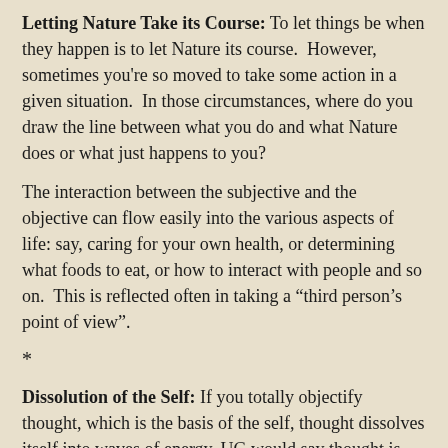Letting Nature Take its Course: To let things be when they happen is to let Nature its course. However, sometimes you're so moved to take some action in a given situation. In those circumstances, where do you draw the line between what you do and what Nature does or what just happens to you?
The interaction between the subjective and the objective can flow easily into the various aspects of life: say, caring for your own health, or determining what foods to eat, or how to interact with people and so on. This is reflected often in taking a “third person’s point of view”.
* * *
Dissolution of the Self: If you totally objectify thought, which is the basis of the self, thought dissolves itself into waves of energy. UG would say thought is sound. I would add image to it.
To dissolve thought, if that can be achieved, is at the same time to dissolve the self. This may not be possible except in moments of total abstraction, for we need thought to function